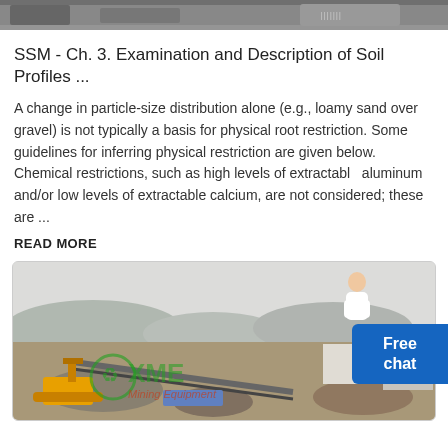[Figure (photo): Partial top image showing soil/mining equipment scene, cropped at top of page]
SSM - Ch. 3. Examination and Description of Soil Profiles ...
A change in particle-size distribution alone (e.g., loamy sand over gravel) is not typically a basis for physical root restriction. Some guidelines for inferring physical restriction are given below. Chemical restrictions, such as high levels of extractable aluminum and/or low levels of extractable calcium, are not considered; these are ...
READ MORE
[Figure (photo): Aerial/elevated view of a mining or quarrying site with excavators, conveyor belts, gravel piles, industrial buildings, and mountains in the background. XME Mining Equipment watermark visible.]